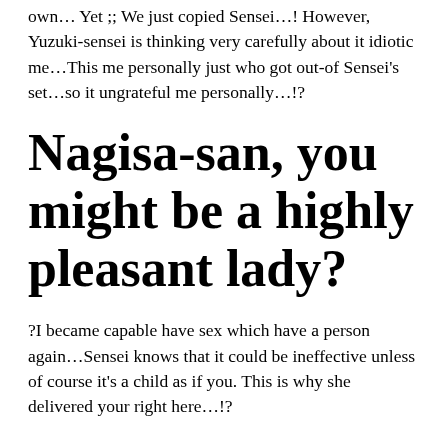own… Yet ;; We just copied Sensei…! However, Yuzuki-sensei is thinking very carefully about it idiotic me…This me personally just who got out-of Sensei's set…so it ungrateful me personally…!?
Nagisa-san, you might be a highly pleasant lady?
?I became capable have sex which have a person again…Sensei knows that it could be ineffective unless of course it's a child as if you. This is why she delivered your right here…!?